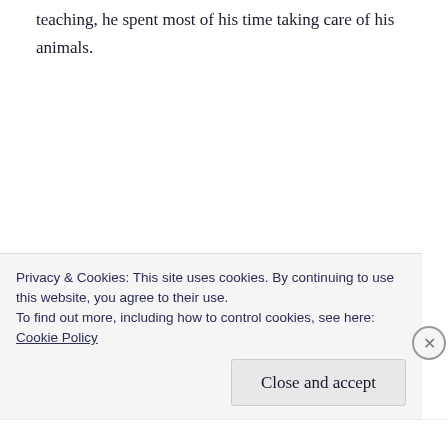teaching, he spent most of his time taking care of his animals.
Soon, the baa's of his flock overwhelmed every other sound. A few minutes later, we were face to face. I breathed the life in the air as he drew closer; the bells around the animals' necks grow louder. My heart warmed
Privacy & Cookies: This site uses cookies. By continuing to use this website, you agree to their use.
To find out more, including how to control cookies, see here:
Cookie Policy
Close and accept